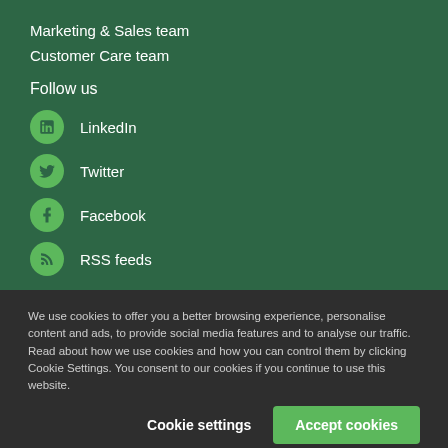Marketing & Sales team
Customer Care team
Follow us
LinkedIn
Twitter
Facebook
RSS feeds
We use cookies to offer you a better browsing experience, personalise content and ads, to provide social media features and to analyse our traffic. Read about how we use cookies and how you can control them by clicking Cookie Settings. You consent to our cookies if you continue to use this website.
Cookie settings
Accept cookies